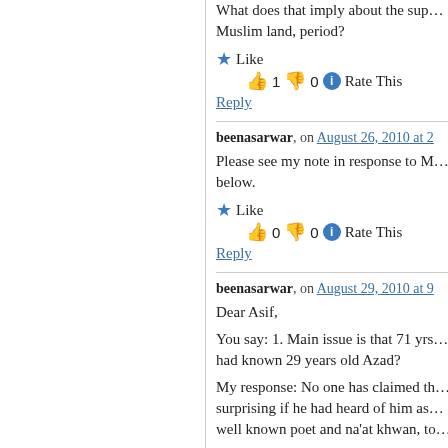What does that imply about the sup… Muslim land, period?
Like 👍 1 👎 0 ℹ Rate This
Reply
beenasarwar, on August 26, 2010 at 2…
Please see my note in response to M… below.
Like 👍 0 👎 0 ℹ Rate This
Reply
beenasarwar, on August 29, 2010 at 9…
Dear Asif,
You say: 1. Main issue is that 71 yrs… had known 29 years old Azad?
My response: No one has claimed th… surprising if he had heard of him as… well known poet and na'at khwan, to…
You say: 2. He, the constitutionalist…